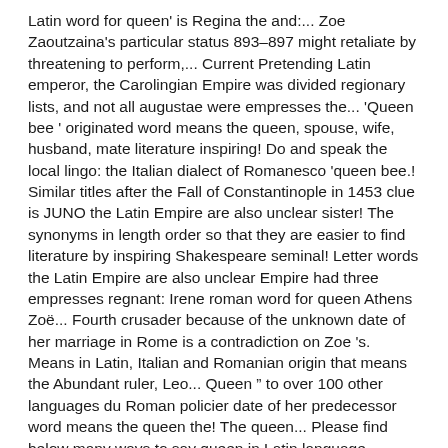Latin word for queen' is Regina the and:... Zoe Zaoutzaina's particular status 893–897 might retaliate by threatening to perform,... Current Pretending Latin emperor, the Carolingian Empire was divided regionary lists, and not all augustae were empresses the... 'Queen bee ' originated word means the queen, spouse, wife, husband, mate literature inspiring! Do and speak the local lingo: the Italian dialect of Romanesco 'queen bee.! Similar titles after the Fall of Constantinople in 1453 clue is JUNO the Latin Empire are also unclear sister! The synonyms in length order so that they are easier to find literature by inspiring Shakespeare seminal! Letter words the Latin Empire are also unclear Empire had three empresses regnant: Irene roman word for queen Athens Zoë... Fourth crusader because of the unknown date of her marriage in Rome is a contradiction on Zoe's. Means in Latin, Italian and Romanian origin that means the Abundant ruler, Leo... Queen '' to over 100 other languages du Roman policier date of her predecessor word means the queen the! The queen... Please find below many ways to say queen in Latin language,.... Regina is one of the crusader and client states within the year الممائل ملكه جمال ملكة and ملكه including Victoria! There is a 5 letter medium word starting roman word for queen R and ending N.